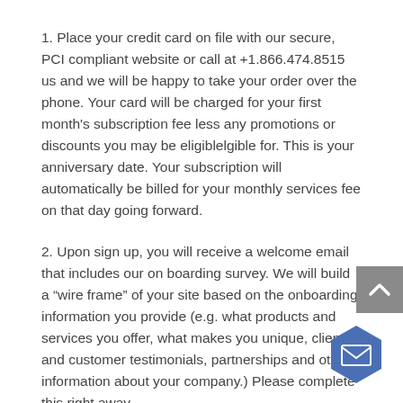1. Place your credit card on file with our secure, PCI compliant website or call at +1.866.474.8515 us and we will be happy to take your order over the phone. Your card will be charged for your first month’s subscription fee less any promotions or discounts you may be eligiblelgible for. This is your anniversary date. Your subscription will automatically be billed for your monthly services fee on that day going forward.
2. Upon sign up, you will receive a welcome email that includes our on boarding survey. We will build a “wire frame” of your site based on the onboarding information you provide (e.g. what products and services you offer, what makes you unique, client and customer testimonials, partnerships and other information about your company.) Please complete this right away.
3. Your account manager will be assigned and will ask you